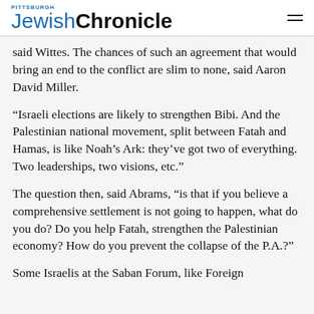Pittsburgh Jewish Chronicle
said Wittes. The chances of such an agreement that would bring an end to the conflict are slim to none, said Aaron David Miller.
“Israeli elections are likely to strengthen Bibi. And the Palestinian national movement, split between Fatah and Hamas, is like Noah’s Ark: they’ve got two of everything. Two leaderships, two visions, etc.”
The question then, said Abrams, “is that if you believe a comprehensive settlement is not going to happen, what do you do? Do you help Fatah, strengthen the Palestinian economy? How do you prevent the collapse of the P.A.?”
Some Israelis at the Saban Forum, like Foreign